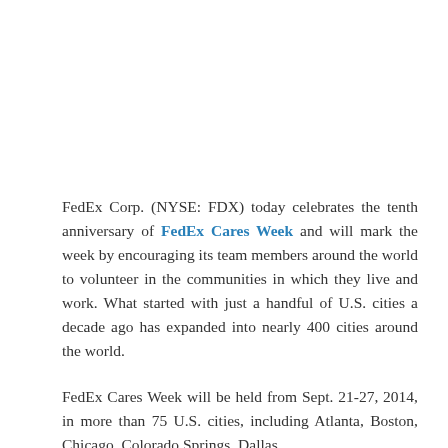FedEx Corp. (NYSE: FDX) today celebrates the tenth anniversary of FedEx Cares Week and will mark the week by encouraging its team members around the world to volunteer in the communities in which they live and work. What started with just a handful of U.S. cities a decade ago has expanded into nearly 400 cities around the world.
FedEx Cares Week will be held from Sept. 21-27, 2014, in more than 75 U.S. cities, including Atlanta, Boston, Chicago, Colorado Springs, Dallas,